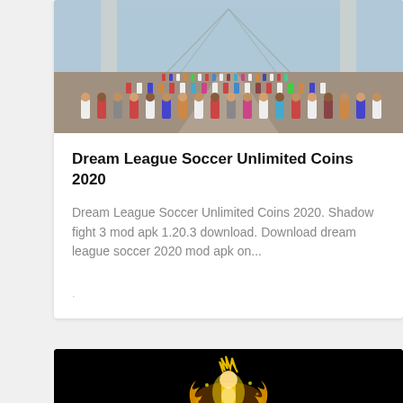[Figure (photo): Crowd of marathon runners on a bridge, viewed from behind/front, stretching into the distance. Bridge suspension cables visible on both sides.]
Dream League Soccer Unlimited Coins 2020
Dream League Soccer Unlimited Coins 2020. Shadow fight 3 mod apk 1.20.3 download. Download dream league soccer 2020 mod apk on...
·
[Figure (photo): Dark background with a glowing golden/orange anime-style character (appears to be Naruto or similar) in the center bottom portion.]